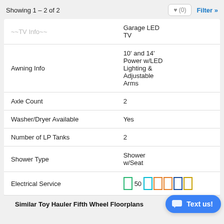Showing 1 – 2 of 2
| Feature | Value |
| --- | --- |
|  | Garage LED TV |
| Awning Info | 10' and 14' Power w/LED Lighting & Adjustable Arms |
| Axle Count | 2 |
| Washer/Dryer Available | Yes |
| Number of LP Tanks | 2 |
| Shower Type | Shower w/Seat |
| Electrical Service | 50 |
Similar Toy Hauler Fifth Wheel Floorplans